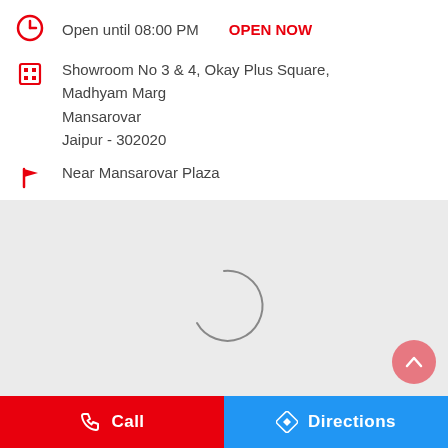Open until 08:00 PM   OPEN NOW
Showroom No 3 & 4, Okay Plus Square, Madhyam Marg Mansarovar Jaipur - 302020
Near Mansarovar Plaza
[Figure (screenshot): Loading map area with spinner/loading indicator on grey background]
Call
Directions